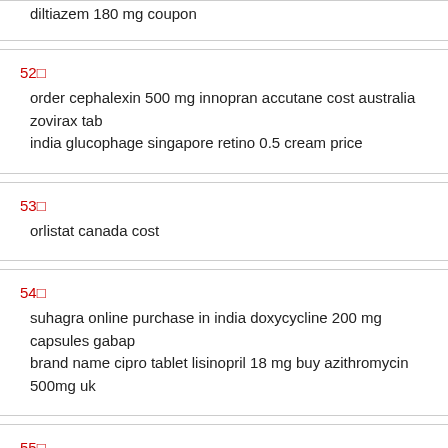diltiazem 180 mg coupon
52□
order cephalexin 500 mg innopran accutane cost australia zovirax tablets india glucophage singapore retino 0.5 cream price
53□
orlistat canada cost
54□
suhagra online purchase in india doxycycline 200 mg capsules gabapentin brand name cipro tablet lisinopril 18 mg buy azithromycin 500mg uk
55□